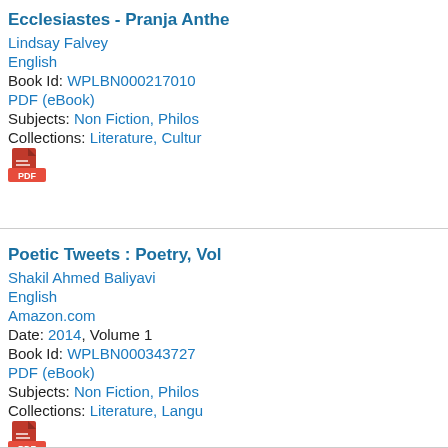Ecclesiastes - Pranja Anthe...
Lindsay Falvey
English
Book Id: WPLBN000217010...
PDF (eBook)
Subjects: Non Fiction, Philos...
Collections: Literature, Cultur...
Poetic Tweets : Poetry, Vol...
Shakil Ahmed Baliyavi
English
Amazon.com
Date: 2014, Volume 1
Book Id: WPLBN000343727...
PDF (eBook)
Subjects: Non Fiction, Philos...
Collections: Literature, Langu...